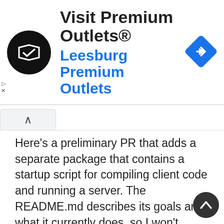[Figure (screenshot): Advertisement banner: Visit Premium Outlets® / Leesburg Premium Outlets with circular logo and navigation diamond icon]
Here's a preliminary PR that adds a separate package that contains a startup script for compiling client code and running a server. The README.md describes its goals and what it currently does, so I won't repeat that here.
If you want to see what a minimal project using react-server-cli looks like, check out the hello world example.
A few things to note: